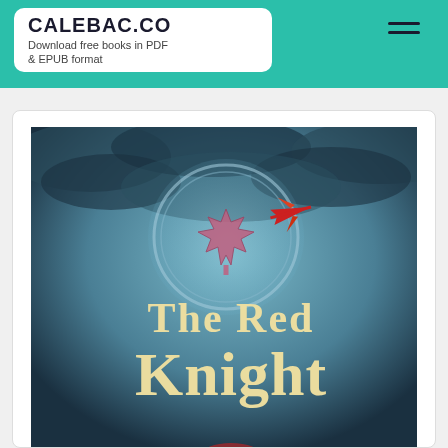CALEBAC.CO Download free books in PDF & EPUB format
[Figure (illustration): Book cover of 'The Red Knight' showing a stormy sky with dark clouds, a circular emblem with a maple leaf in the center, a red arrow or bird flying past, and the title 'The Red Knight' in large cream/gold medieval-style lettering]